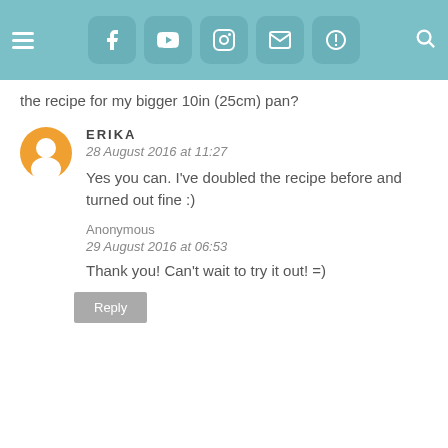[Figure (screenshot): Website navigation header bar with hamburger menu, social media icons (Facebook, YouTube, Instagram, Email, Order Now), and search icon on teal background]
the recipe for my bigger 10in (25cm) pan?
ERIKA
28 August 2016 at 11:27
Yes you can. I've doubled the recipe before and turned out fine :)
Anonymous
29 August 2016 at 06:53
Thank you! Can't wait to try it out! =)
Reply